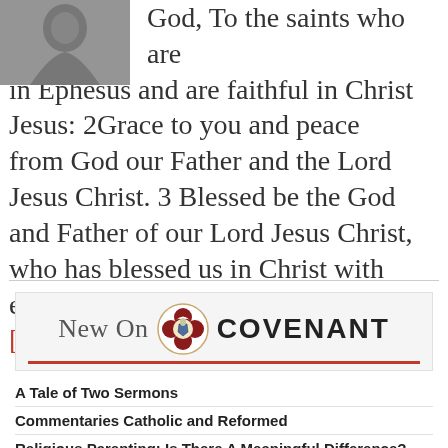God, To the saints who are in Ephesus and are faithful in Christ Jesus: 2Grace to you and peace from God our Father and the Lord Jesus Christ. 3 Blessed be the God and Father of our Lord Jesus Christ, who has blessed us in Christ with every spiritual blessing in the ... [Read more…]
[Figure (photo): Partial black and white photo of a person, cropped at top-left of the article]
[Figure (logo): New On Covenant banner with decorative crest/seal logo between the words 'New On' and 'COVENANT', with a red underline]
A Tale of Two Sermons
Commentaries Catholic and Reformed
Religious Parenting: Is There A Meaningful Difference?
“Bridge the Gap”: Charitable Theology in the 21st Century